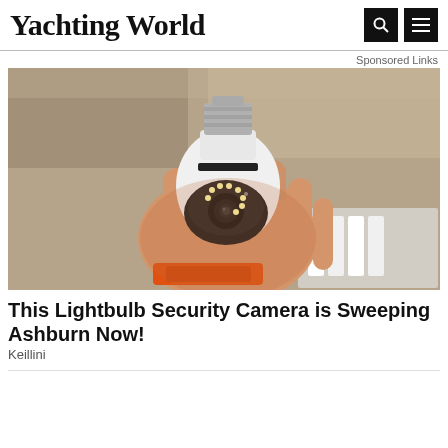Yachting World
Sponsored Links
[Figure (photo): A hand holding a white lightbulb-shaped security camera with visible LED ring and camera lens, photographed against a cardboard/storage background.]
This Lightbulb Security Camera is Sweeping Ashburn Now!
Keillini